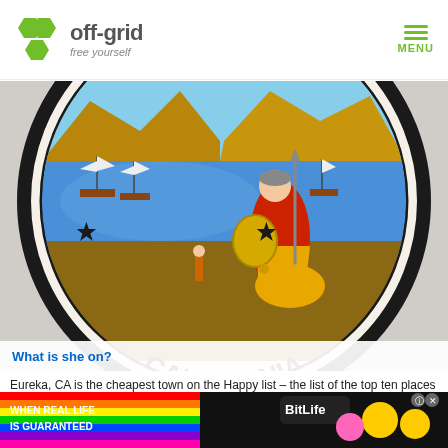off-grid free yourself  MENU
[Figure (photo): California state seal cropped showing Minerva goddess figure with bear, ships in bay, mountains, stars, and text 'CALIFORNIA' along the bottom arc]
What is she on?
Eureka, CA is the cheapest town on the Happy list – the list of the top ten places to be happy, as reported in Sunset.com.
[Figure (other): Advertisement banner: BitLife game ad with rainbow and emoji graphics, 'WHEN REAL LIFE IS GUARANTEED' text]